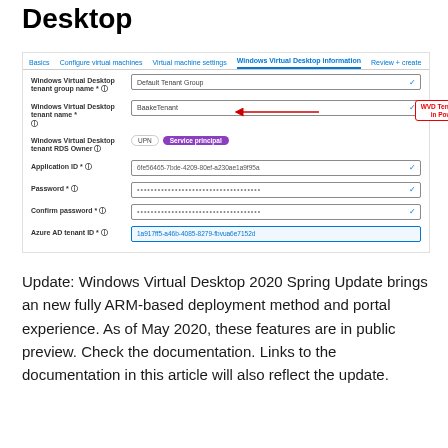Desktop
[Figure (screenshot): Azure portal screenshot showing Windows Virtual Desktop information form with fields: Windows Virtual Desktop tenant group name (Default Tenant Group), Windows Virtual Desktop tenant name (BaakeTenant, highlighted with red arrow), Windows Virtual Desktop tenant RDS Owner (UPN / Service principal toggle), Application ID, Password, Confirm password, Azure AD tenant ID. A red callout box reads 'WVD Tenant created in PowerShell'.]
Update: Windows Virtual Desktop 2020 Spring Update brings an new fully ARM-based deployment method and portal experience. As of May 2020, these features are in public preview. Check the documentation. Links to the documentation in this article will also reflect the update.